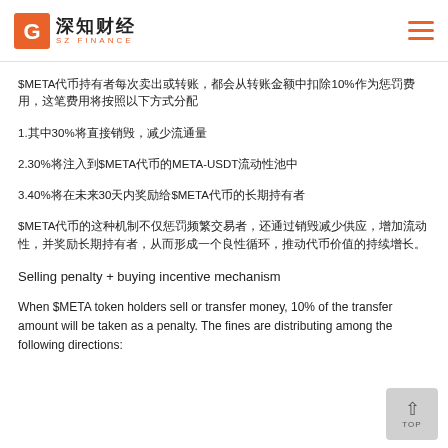深知财经 SZ FINANCE
$META代币持有者每次卖出或转账，都会从转账金额中扣除10%作为惩罚费用，这笔费用将按照以下方式分配
1.其中30%将直接销毁，减少流通量
2.30%将注入到$META代币的META-USDT流动性池中
3.40%将在未来30天内奖励给$META代币的长期持有者
$META代币的这种机制不仅惩罚频繁交易者，还通过销毁减少供应，增加流动性，并奖励长期持有者，从而形成一个良性循环，推动代币价值的持续增长。
Selling penalty + buying incentive mechanism
When $META token holders sell or transfer money, 10% of the transfer amount will be taken as a penalty. The fines are distributing among the following directions: